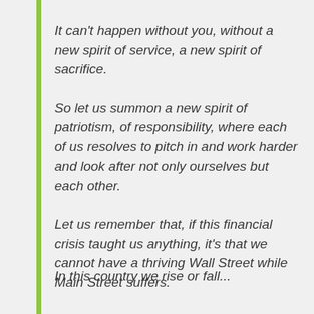It can't happen without you, without a new spirit of service, a new spirit of sacrifice.
So let us summon a new spirit of patriotism, of responsibility, where each of us resolves to pitch in and work harder and look after not only ourselves but each other.
Let us remember that, if this financial crisis taught us anything, it's that we cannot have a thriving Wall Street while Main Street suffers.
In this country we rise or fall...